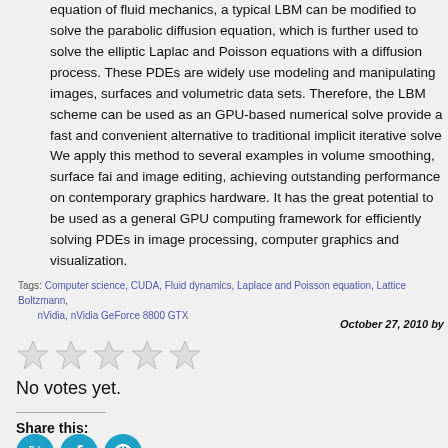equation of fluid mechanics, a typical LBM can be modified to solve the parabolic diffusion equation, which is further used to solve the elliptic Laplace and Poisson equations with a diffusion process. These PDEs are widely used modeling and manipulating images, surfaces and volumetric data sets. Therefore, the LBM scheme can be used as an GPU-based numerical solver provide a fast and convenient alternative to traditional implicit iterative solver. We apply this method to several examples in volume smoothing, surface fairing and image editing, achieving outstanding performance on contemporary graphics hardware. It has the great potential to be used as a general GPU computing framework for efficiently solving PDEs in image processing, computer graphics and visualization.
Tags: Computer science, CUDA, Fluid dynamics, Laplace and Poisson equation, Lattice Boltzmann, nVidia, nVidia GeForce 8800 GTX
October 27, 2010 by
[Figure (other): Five empty star rating icons]
No votes yet.
Share this:
[Figure (other): Three social media share icons (Twitter/X, Facebook, and another platform) as teal circles]